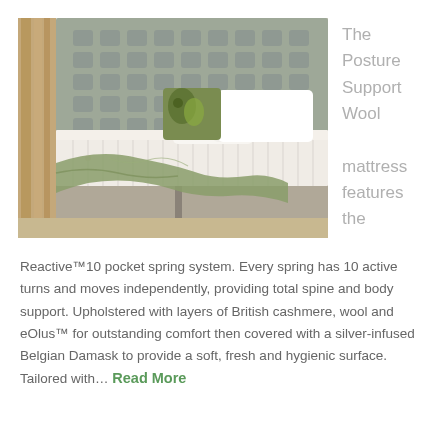[Figure (photo): A luxury bed with a tufted upholstered headboard, white pocket spring mattress with button detail, white pillows, a floral green cushion, and a green-grey knitted throw draped over the side, displayed in a bedroom setting.]
The Posture Support Wool mattress features the
Reactive™10 pocket spring system. Every spring has 10 active turns and moves independently, providing total spine and body support. Upholstered with layers of British cashmere, wool and eOlus™ for outstanding comfort then covered with a silver-infused Belgian Damask to provide a soft, fresh and hygienic surface. Tailored with… Read More